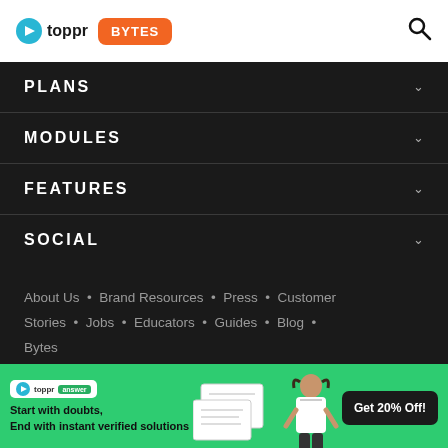toppr BYTES
PLANS
MODULES
FEATURES
SOCIAL
About Us • Brand Resources • Press • Customer Stories • Jobs • Educators • Guides • Blog • Bytes
[Figure (screenshot): Toppr Answer app advertisement banner with green background, showing a girl student, math problems, and a 'Get 20% Off!' button]